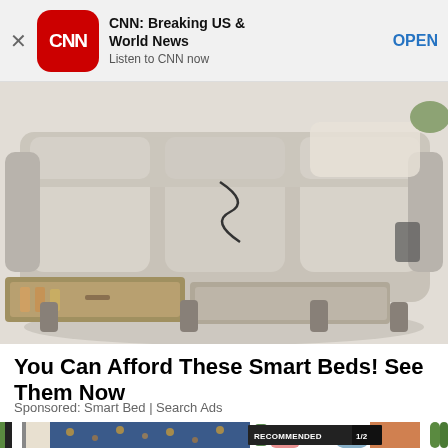[Figure (screenshot): CNN app advertisement banner with red rounded square logo, title 'CNN: Breaking US & World News', subtitle 'Listen to CNN now', and OPEN button]
[Figure (photo): Photo of a smart bed/couch with storage drawers underneath, beige/cream colored, pulled out drawers visible]
You Can Afford These Smart Beds! See Them Now
Sponsored: Smart Bed | Search Ads
[Figure (photo): Photo of bus interior with patterned seats, pink Nike sneakers, books, and a woman in orange top sitting with phone. RECOMMENDED 1/2 badge overlay.]